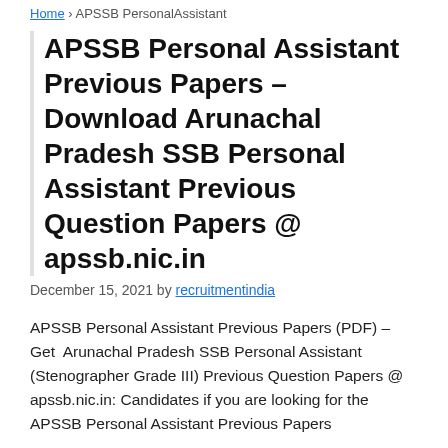Home > APSSB PersonalAssistant
APSSB Personal Assistant Previous Papers – Download Arunachal Pradesh SSB Personal Assistant Previous Question Papers @ apssb.nic.in
December 15, 2021 by recruitmentindia
APSSB Personal Assistant Previous Papers (PDF) – Get  Arunachal Pradesh SSB Personal Assistant (Stenographer Grade III) Previous Question Papers @ apssb.nic.in: Candidates if you are looking for the APSSB Personal Assistant Previous Papers